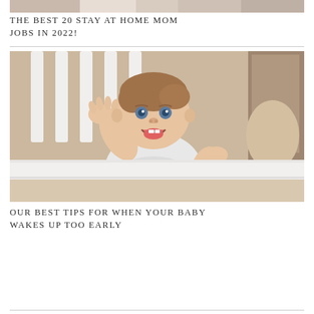[Figure (photo): Top strip of a partially visible photo, cropped at the top of the page]
THE BEST 20 STAY AT HOME MOM JOBS IN 2022!
[Figure (photo): A smiling baby standing in a white crib, reaching one hand toward the camera, wearing a white onesie, with a wooden crib background]
OUR BEST TIPS FOR WHEN YOUR BABY WAKES UP TOO EARLY